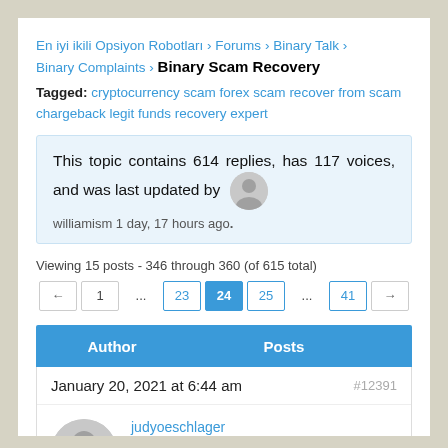En iyi ikili Opsiyon Robotları › Forums › Binary Talk › Binary Complaints › Binary Scam Recovery
Tagged: cryptocurrency scam forex scam recover from scam chargeback legit funds recovery expert
This topic contains 614 replies, has 117 voices, and was last updated by williamism 1 day, 17 hours ago.
Viewing 15 posts - 346 through 360 (of 615 total)
Pagination: ← 1 ... 23 24 25 ... 41 →
| Author | Posts |
| --- | --- |
January 20, 2021 at 6:44 am  #12391
judyoeschlager
Participant
TO BE HONEST...